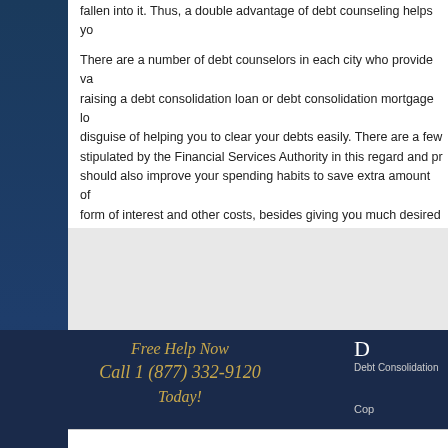fallen into it. Thus, a double advantage of debt counseling helps yo...
There are a number of debt counselors in each city who provide va... raising a debt consolidation loan or debt consolidation mortgage lo... disguise of helping you to clear your debts easily. There are a few... stipulated by the Financial Services Authority in this regard and pr... should also improve your spending habits to save extra amount of... form of interest and other costs, besides giving you much desired...
Filed Under: General Tagged With: Adverse Impact, Cond... Companies, Debt Management Plan, Debt Repayment, Debt Tra... Measures, Prudent Manner, Rate Of Interest, Repayment Period...
Free Help Now Call 1 (877) 332-9120 Today! Debt Consolidation | Copyright